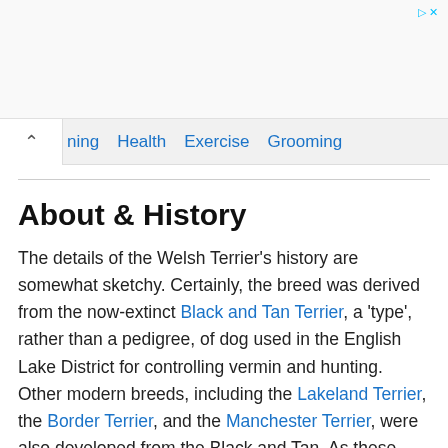[Figure (other): Advertisement banner area at the top of the page]
ning  Health  Exercise  Grooming
About & History
The details of the Welsh Terrier's history are somewhat sketchy. Certainly, the breed was derived from the now-extinct Black and Tan Terrier, a 'type', rather than a pedigree, of dog used in the English Lake District for controlling vermin and hunting. Other modern breeds, including the Lakeland Terrier, the Border Terrier, and the Manchester Terrier, were also developed from the Black and Tan. As these breeds were refined and developed, it appears that it became common practice for breed histories to be embellished or altered, so as to promote the provenance of a particular breeder's line – a practice